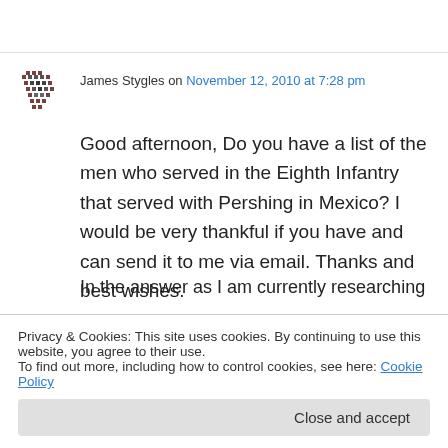James Stygles on November 12, 2010 at 7:28 pm
Good afternoon, Do you have a list of the men who served in the Eighth Infantry that served with Pershing in Mexico? I would be very thankful if you have and can send it to me via email. Thanks and best wishes.
Privacy & Cookies: This site uses cookies. By continuing to use this website, you agree to their use. To find out more, including how to control cookies, see here: Cookie Policy
In the answer as I am currently researching that